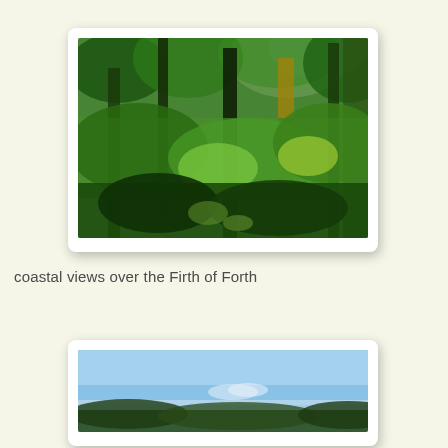[Figure (photo): Sunlit forest with tall green trees and dense undergrowth, bright green foliage with sunlight filtering through the canopy]
coastal views over the Firth of Forth
[Figure (photo): Outdoor scene showing a clear blue sky with low hills or coastline visible at the bottom of the frame]